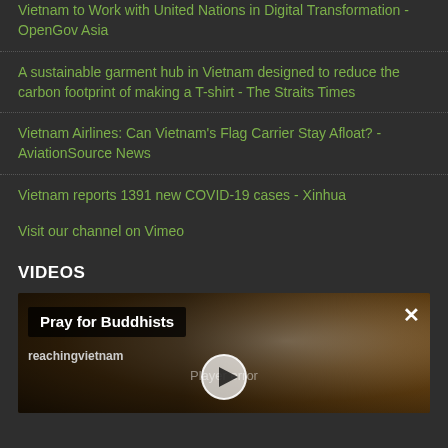Vietnam to Work with United Nations in Digital Transformation - OpenGov Asia
A sustainable garment hub in Vietnam designed to reduce the carbon footprint of making a T-shirt - The Straits Times
Vietnam Airlines: Can Vietnam's Flag Carrier Stay Afloat? - AviationSource News
Vietnam reports 1391 new COVID-19 cases - Xinhua
Visit our channel on Vimeo
VIDEOS
[Figure (screenshot): Video thumbnail for 'Pray for Buddhists' by reachingvietnam, showing an elderly person's face with a player error message and play button overlay]